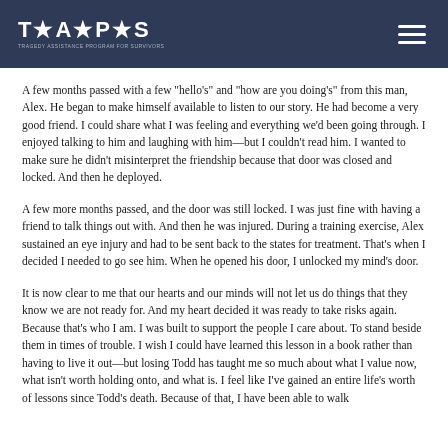TAPS - Tragedy Assistance Program for Survivors
A few months passed with a few "hello's" and "how are you doing's" from this man, Alex. He began to make himself available to listen to our story. He had become a very good friend. I could share what I was feeling and everything we'd been going through. I enjoyed talking to him and laughing with him—but I couldn't read him. I wanted to make sure he didn't misinterpret the friendship because that door was closed and locked. And then he deployed.
A few more months passed, and the door was still locked. I was just fine with having a friend to talk things out with. And then he was injured. During a training exercise, Alex sustained an eye injury and had to be sent back to the states for treatment. That's when I decided I needed to go see him. When he opened his door, I unlocked my mind's door.
It is now clear to me that our hearts and our minds will not let us do things that they know we are not ready for. And my heart decided it was ready to take risks again. Because that's who I am. I was built to support the people I care about. To stand beside them in times of trouble. I wish I could have learned this lesson in a book rather than having to live it out—but losing Todd has taught me so much about what I value now, what isn't worth holding onto, and what is. I feel like I've gained an entire life's worth of lessons since Todd's death. Because of that, I have been able to walk